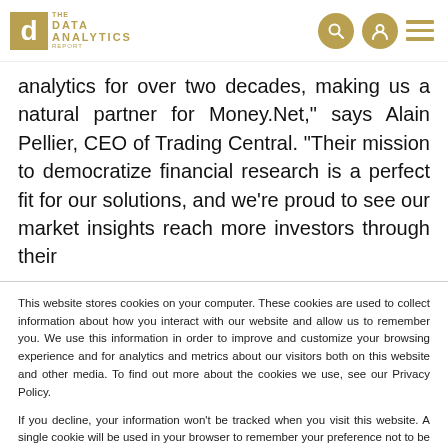The Data Analytics Report
analytics for over two decades, making us a natural partner for Money.Net," says Alain Pellier, CEO of Trading Central. "Their mission to democratize financial research is a perfect fit for our solutions, and we're proud to see our market insights reach more investors through their
This website stores cookies on your computer. These cookies are used to collect information about how you interact with our website and allow us to remember you. We use this information in order to improve and customize your browsing experience and for analytics and metrics about our visitors both on this website and other media. To find out more about the cookies we use, see our Privacy Policy.
If you decline, your information won't be tracked when you visit this website. A single cookie will be used in your browser to remember your preference not to be tracked.